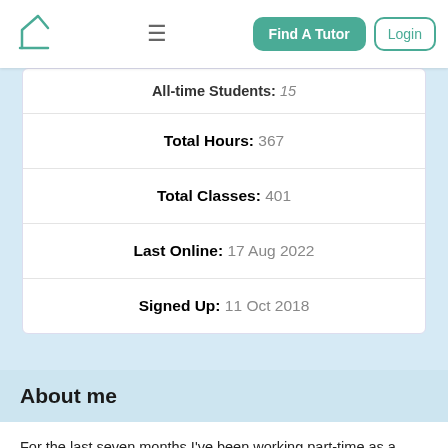Find A Tutor | Login
| All-time Students: 15 |
| Total Hours: 367 |
| Total Classes: 401 |
| Last Online: 17 Aug 2022 |
| Signed Up: 11 Oct 2018 |
About me
For the last seven months I've been working part-time as a cataloguer and researcher for an auction house which specialises in Ancient Art, however my skills for